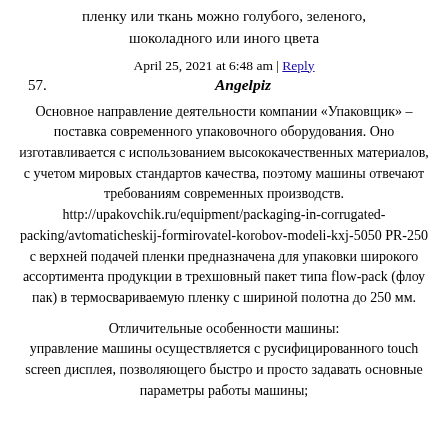пленку или ткань можно голубого, зеленого, шоколадного или иного цвета
April 25, 2021 at 6:48 am | Reply
57. Angelpiz
Основное направление деятельности компании «Упаковщик» – поставка современного упаковочного оборудования. Оно изготавливается с использованием высококачественных материалов, с учетом мировых стандартов качества, поэтому машины отвечают требованиям современных производств. http://upakovchik.ru/equipment/packaging-in-corrugated-packing/avtomaticheskij-formirovatel-korobov-modeli-kxj-5050 PR-250 с верхней подачей пленки предназначена для упаковки широкого ассортимента продукции в трехшовный пакет типа flow-pack (флоу пак) в термосвариваемую пленку с шириной полотна до 250 мм.
Отличительные особенности машины: управление машины осуществляется с русифицированного touch screen дисплея, позволяющего быстро и просто задавать основные параметры работы машины;